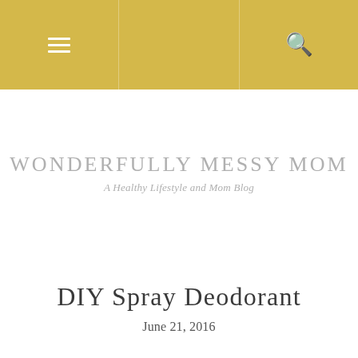Navigation bar with hamburger menu and search icon
WONDERFULLY MESSY MOM
A Healthy Lifestyle and Mom Blog
DIY Spray Deodorant
June 21, 2016